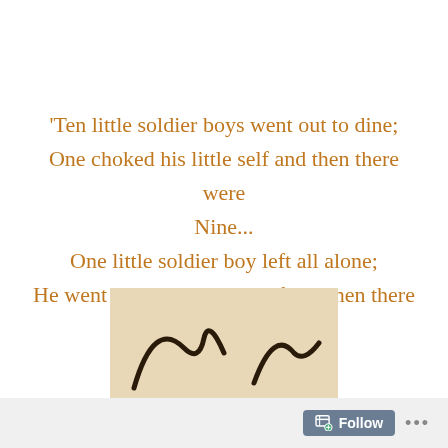'Ten little soldier boys went out to dine; One choked his little self and then there were Nine... One little soldier boy left all alone; He went and hanged himself and then there were None.'
[Figure (illustration): Partial view of a handwritten signature or cursive script on a beige/tan background, showing dark ink strokes.]
Follow ...